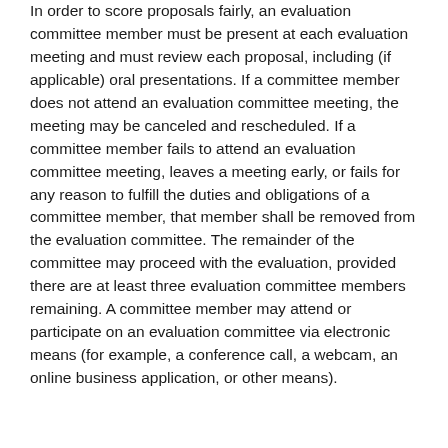In order to score proposals fairly, an evaluation committee member must be present at each evaluation meeting and must review each proposal, including (if applicable) oral presentations. If a committee member does not attend an evaluation committee meeting, the meeting may be canceled and rescheduled. If a committee member fails to attend an evaluation committee meeting, leaves a meeting early, or fails for any reason to fulfill the duties and obligations of a committee member, that member shall be removed from the evaluation committee. The remainder of the committee may proceed with the evaluation, provided there are at least three evaluation committee members remaining. A committee member may attend or participate on an evaluation committee via electronic means (for example, a conference call, a webcam, an online business application, or other means).